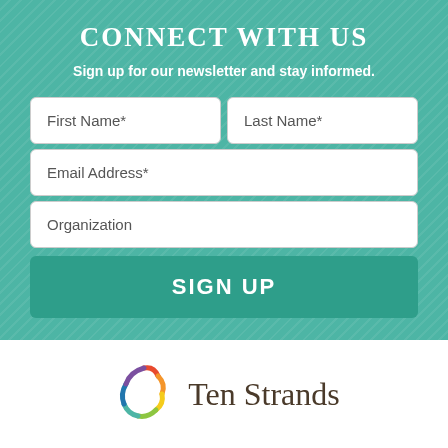Connect with Us
Sign up for our newsletter and stay informed.
[Figure (infographic): Newsletter sign-up form with fields: First Name*, Last Name*, Email Address*, Organization, and a SIGN UP button]
[Figure (logo): Ten Strands logo with colorful circular strand icon and text 'Ten Strands']